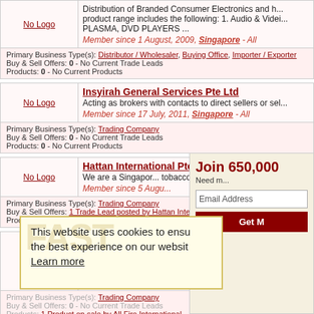No Logo - Distribution of Branded Consumer Electronics. Product range includes: 1. Audio & Video, PLASMA, DVD PLAYERS ... Member since 1 August, 2009, Singapore - All
Primary Business Type(s): Distributor / Wholesaler, Buying Office, Importer / Exporter
Buy & Sell Offers: 0 - No Current Trade Leads
Products: 0 - No Current Products
Insyirah General Services Pte Ltd - Acting as brokers with contacts to direct sellers or se... Member since 17 July, 2011, Singapore - All
Primary Business Type(s): Trading Company
Buy & Sell Offers: 0 - No Current Trade Leads
Products: 0 - No Current Products
Hattan International Pte Ltd - We are a Singapore... tobacco. Member since 5 Augu...
Primary Business Type(s): Trading Company
Buy & Sell Offers: 1 Trade Lead posted by Hattan Intern...
Products: 0 - No Current Products
All Fire Internatio... - Our product range... VIMPEX - Fire Eva... Strobes and Watel... Member since 30 Jun...
Primary Business Type(s): Trading Company
Buy & Sell Offers: 0 - No Current Trade Leads
Products: 1 Product on sale by All Fire International
[Figure (screenshot): Cookie consent banner with FAST watermark logo text, reading: This website uses cookies to ensu the best experience on our websit. Learn more]
Join 650,000... Need m... Email Address. Get M...